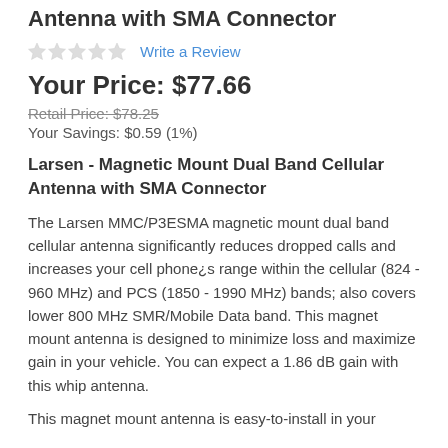Antenna with SMA Connector
Write a Review
Your Price:  $77.66
Retail Price: $78.25
Your Savings: $0.59 (1%)
Larsen - Magnetic Mount Dual Band Cellular Antenna with SMA Connector
The Larsen MMC/P3ESMA magnetic mount dual band cellular antenna significantly reduces dropped calls and increases your cell phone¿s range within the cellular (824 - 960 MHz) and PCS (1850 - 1990 MHz) bands; also covers lower 800 MHz SMR/Mobile Data band. This magnet mount antenna is designed to minimize loss and maximize gain in your vehicle. You can expect a 1.86 dB gain with this whip antenna.
This magnet mount antenna is easy-to-install in your